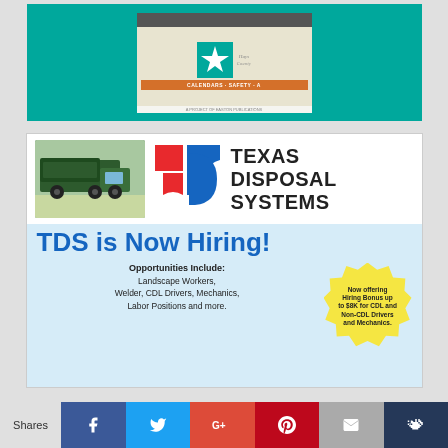[Figure (photo): Top advertisement showing a green background with a book/calendar cover featuring a Texas star and text 'CALENDARS · SAFETY · A...' with 'A PROJECT OF EASTON PUBLICATIONS']
[Figure (photo): Texas Disposal Systems advertisement. Shows a garbage truck photo on the left, TDS logo (red square and blue Texas shape) in center, 'TEXAS DISPOSAL SYSTEMS' text on right. Blue background section below with text 'TDS is Now Hiring!' and 'Opportunities Include: Landscape Workers, Welder, CDL Drivers, Mechanics, Labor Positions and more.' Yellow starburst badge: 'Now offering Hiring Bonus up to $8K for CDL and Non-CDL Drivers and Mechanics.']
[Figure (other): Social sharing bar with Shares label and buttons: Facebook (blue), Twitter (light blue), Google+ (red), Pinterest (dark red), Email (grey), Crown/share (dark blue)]